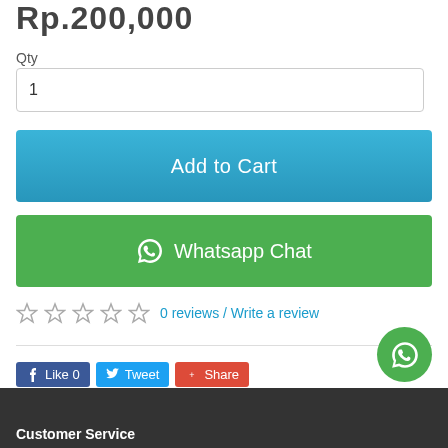Rp.200,000
Qty
1
Add to Cart
Whatsapp Chat
0 reviews / Write a review
Like 0   Tweet   Share
Tags: Front Strangle Mastery by David Garmo, Instant Download, Video, on Demand
Customer Service